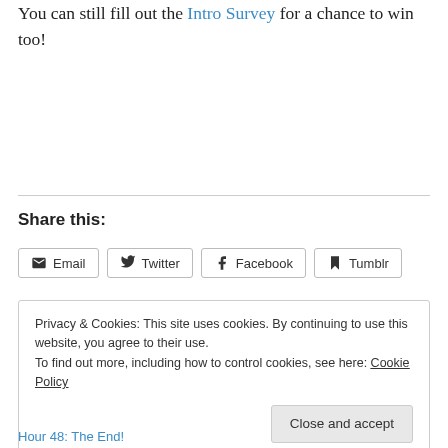You can still fill out the Intro Survey for a chance to win too!
Share this:
Email  Twitter  Facebook  Tumblr
Privacy & Cookies: This site uses cookies. By continuing to use this website, you agree to their use.
To find out more, including how to control cookies, see here: Cookie Policy
Close and accept
Hour 48: The End!